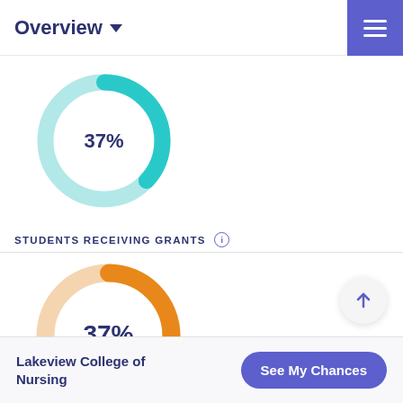Overview
[Figure (donut-chart): Top donut chart]
STUDENTS RECEIVING GRANTS
[Figure (donut-chart): Students Receiving Grants]
Lakeview College of Nursing  See My Chances